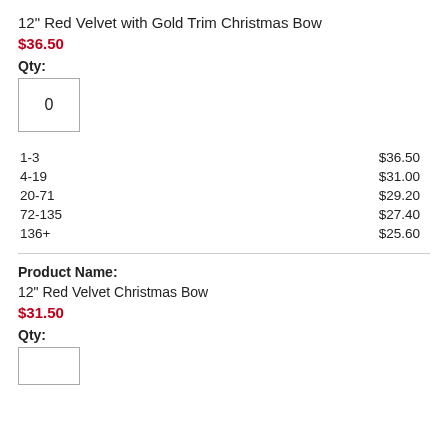12" Red Velvet with Gold Trim Christmas Bow
$36.50
Qty:
0
| Qty Range | Price |
| --- | --- |
| 1-3 | $36.50 |
| 4-19 | $31.00 |
| 20-71 | $29.20 |
| 72-135 | $27.40 |
| 136+ | $25.60 |
Product Name:
12" Red Velvet Christmas Bow
$31.50
Qty: